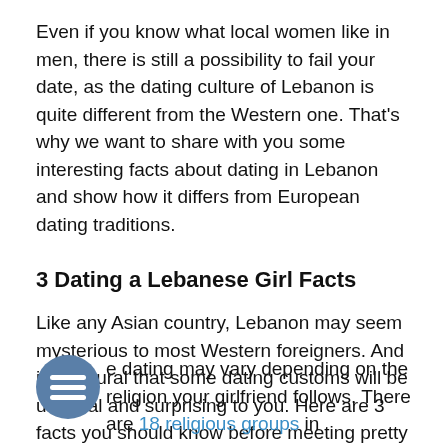Even if you know what local women like in men, there is still a possibility to fail your date, as the dating culture of Lebanon is quite different from the Western one. That's why we want to share with you some interesting facts about dating in Lebanon and show how it differs from European dating traditions.
3 Dating a Lebanese Girl Facts
Like any Asian country, Lebanon may seem mysterious to most Western foreigners. And it is natural that some dating customs will be unusual and surprising to you. Here are 3 facts you should know before meeting pretty Lebanese women. Keep reading to be aware of what dating is like in Lebanon.
e dating may vary depending on the religion your girlfriend follows. There are 18 religious groups in